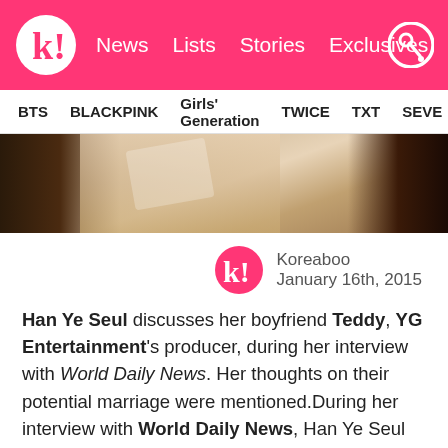k! News Lists Stories Exclusives
BTS BLACKPINK Girls' Generation TWICE TXT SEVE
[Figure (photo): Close-up photo of a person with dark hair, skin tones visible]
Koreaboo
January 16th, 2015
Han Ye Seul discusses her boyfriend Teddy, YG Entertainment's producer, during her interview with World Daily News. Her thoughts on their potential marriage were mentioned.During her interview with World Daily News, Han Ye Seul commented, "I do have positive thoughts about marrying Teddy,